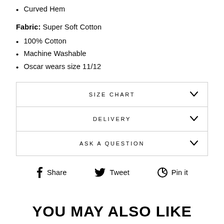Curved Hem
Fabric: Super Soft Cotton
100% Cotton
Machine Washable
Oscar wears size 11/12
SIZE CHART
DELIVERY
ASK A QUESTION
Share  Tweet  Pin it
YOU MAY ALSO LIKE